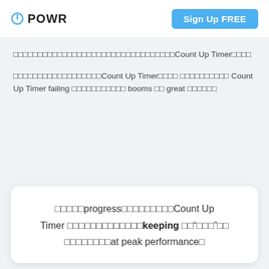POWR | Sign Up FREE
□□□□□□□□□□□□□□□□□□□□□□□□□□□□□□□□□Count Up Timer□□□□
□□□□□□□□□□□□□□□□□□Count Up Timer□□□□ □□□□□□□□□□ Count Up Timer failing □□□□□□□□□□□ booms □□ great □□□□□□
□□□□□progress□□□□□□□□□□Count Up Timer □□□□□□□□□□□□□keeping □□"□□□"□□ □□□□□□□□at peak performance□